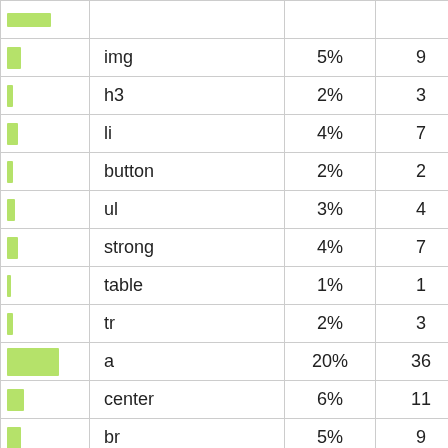|  |  |  |  |
| --- | --- | --- | --- |
| [bar] | img | 5% | 9 |
| [bar] | h3 | 2% | 3 |
| [bar] | li | 4% | 7 |
| [bar] | button | 2% | 2 |
| [bar] | ul | 3% | 4 |
| [bar] | strong | 4% | 7 |
| [bar] | table | 1% | 1 |
| [bar] | tr | 2% | 3 |
| [bar] | a | 20% | 36 |
| [bar] | center | 6% | 11 |
| [bar] | br | 5% | 9 |
| [bar] |  | 6% | 11 |